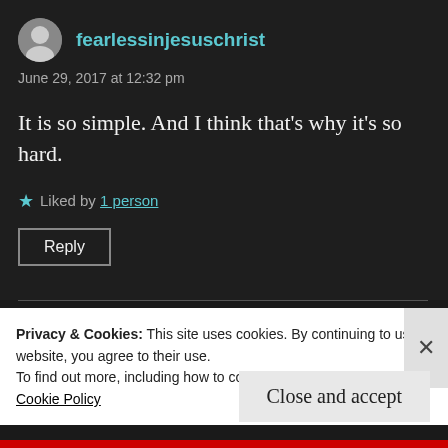fearlessinjesuschrist
June 29, 2017 at 12:32 pm
It is so simple. And I think that's why it's so hard.
★ Liked by 1 person
Reply
Privacy & Cookies: This site uses cookies. By continuing to use this website, you agree to their use.
To find out more, including how to control cookies, see here:
Cookie Policy
Close and accept